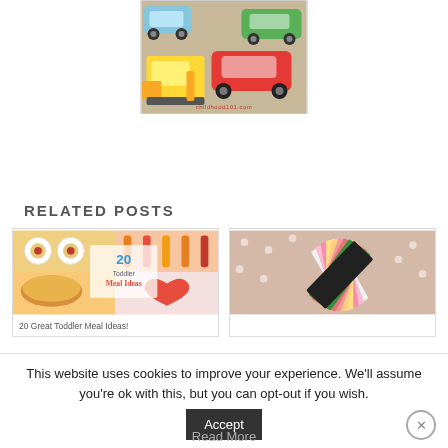[Figure (photo): Photo of colorful toy cars and a yellow bulldozer on a surface, with watermark 'childhood101.com' at the bottom]
RELATED POSTS
[Figure (photo): Thumbnail image for '20 Great Toddler Meal Ideas!' showing collage of toddler food photos with text '20 Toddler Meal Ideas']
20 Great Toddler Meal Ideas!
[Figure (photo): Thumbnail image showing colorful paper/card samples fanned out on a polka dot background]
This website uses cookies to improve your experience. We'll assume you're ok with this, but you can opt-out if you wish.
Accept
Read More